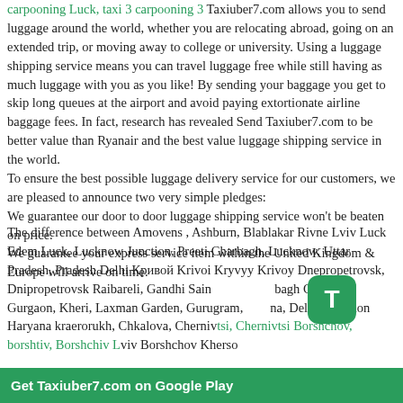carpooning Luck, taxi 3 carpooning 3 Taxiuber7.com allows you to send luggage around the world, whether you are relocating abroad, going on an extended trip, or moving away to college or university. Using a luggage shipping service means you can travel luggage free while still having as much luggage with you as you like! By sending your baggage you get to skip long queues at the airport and avoid paying extortionate airline baggage fees. In fact, research has revealed Send Taxiuber7.com to be better value than Ryanair and the best value luggage shipping service in the world. To ensure the best possible luggage delivery service for our customers, we are pleased to announce two very simple pledges: We guarantee our door to door luggage shipping service won't be beaten on price. We guarantee your express service item within the United Kingdom & Europe will arrive on time.
The difference between Amovens , Ashburn, Blablakar Rivne Lviv Luck Edem Luck, Lucknow Junction, Preeti Charbagh, Lucknow, Uttar Pradesh, Pradesh Delhi Кривой Krivoi Kryvyy Krivoy Dnepropetrovsk, Dnipropetrovsk Raibareli, Gandhi Saindagh Gourgon, Gurgaon, Kheri, Laxman Garden, Gurugram, Hna, Delhi, Gurgaon Haryana kraerorukh, Chkalova, Chernivtsi, Chernivtsi Borshchov, borshtiv, Borshchiv Lviv Borshchov Khersonska, Zaporizhzhia, Zhytomyrska, Warsaw, Varshava, Poland and taxiuber7.com there is no need to registration with account in